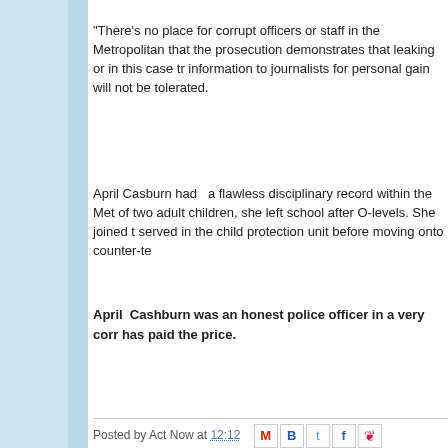"There's no place for corrupt officers or staff in the Metropolitan that the prosecution demonstrates that leaking or in this case tr information to journalists for personal gain will not be tolerated.
April Casburn had   a flawless disciplinary record within the Met of two adult children, she left school after O-levels. She joined t served in the child protection unit before moving onto counter-te
April  Cashburn was an honest police officer in a very corr has paid the price.
Posted by Act Now at 12:12
No comments:
Post a Comment
We welcome all points of view but do not publish malicious comments from you if you want to e-mail us with tips, information or just chat e-m